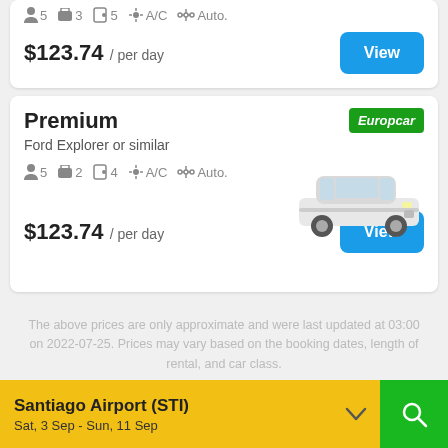5  3  5  A/C  Auto.
$123.74 / per day
Premium
Ford Explorer or similar
5  2  4  A/C  Auto.
[Figure (logo): Europcar green logo]
[Figure (photo): White Ford Explorer SUV]
$123.74 / per day
The above prices are only approximate and were last updated at 03:00 on 2022-07-25. Prices may vary based on the booking dates, length of rental, and car class.
Santiago Airport (STI)
Sat, 3 Sep - Sun, 11 Sep